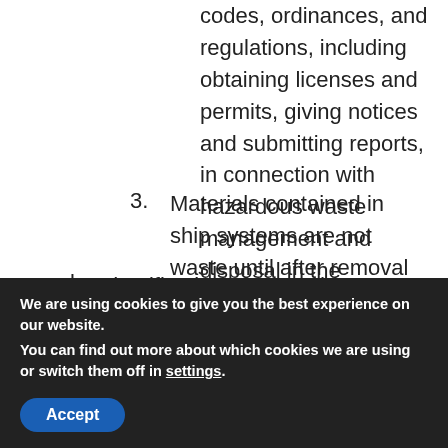codes, ordinances, and regulations, including obtaining licenses and permits, giving notices and submitting reports, in connection with hazardous waste management and disposal in the performance of this contract. Nothing contained herein shall serve to alter either party's liability or responsibility under CERCLA.
3. Materials contained in ship systems are not waste until after removal from the system.
b. Identification of Hazardous Wastes – The specifications of this contract identifies the types and
We are using cookies to give you the best experience on our website.
You can find out more about which cookies we are using or switch them off in settings.